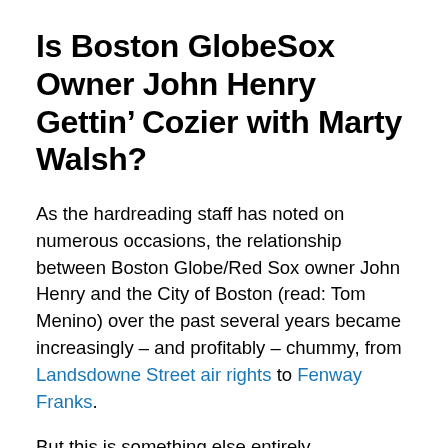Is Boston GlobeSox Owner John Henry Gettin’ Cozier with Marty Walsh?
As the hardreading staff has noted on numerous occasions, the relationship between Boston Globe/Red Sox owner John Henry and the City of Boston (read: Tom Menino) over the past several years became increasingly – and profitably – chummy, from Landsdowne Street air rights to Fenway Franks.
But this is something else entirely.
Yesterday, we posted this:
Marty Walsh Hates the Herald